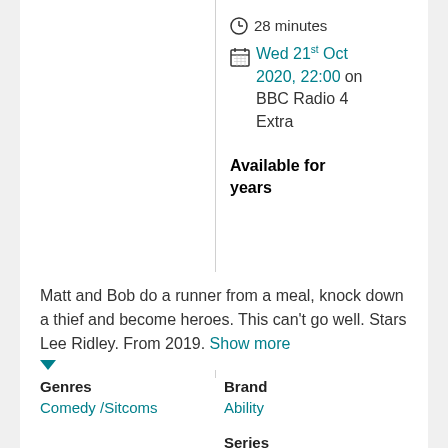28 minutes
Wed 21st Oct 2020, 22:00 on BBC Radio 4 Extra
Available for years
Matt and Bob do a runner from a meal, knock down a thief and become heroes. This can't go well. Stars Lee Ridley. From 2019. Show more
Genres
Comedy /Sitcoms
Brand
Ability
Series
Ability: Series 2